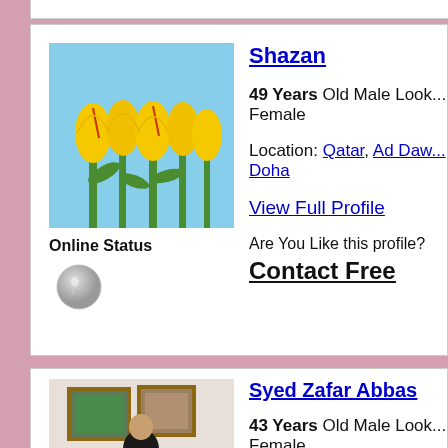[Figure (photo): Yellow tulips against blue sky]
Online Status
[Figure (illustration): Offline/online status icon (grey circle with arrow)]
Shazan
49 Years Old Male Looking Female
Location: Qatar, Ad Dawhah Doha
View Full Profile
Are You Like this profile?
Contact Free
[Figure (photo): Man in black clothing seated indoors with paintings on wall]
Syed Zafar Abbas
43 Years Old Male Looking Female
Location: Pakistan, Punjab Lahore